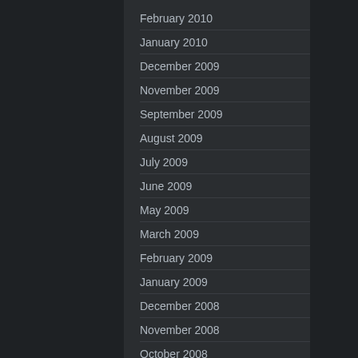February 2010
January 2010
December 2009
November 2009
September 2009
August 2009
July 2009
June 2009
May 2009
March 2009
February 2009
January 2009
December 2008
November 2008
October 2008